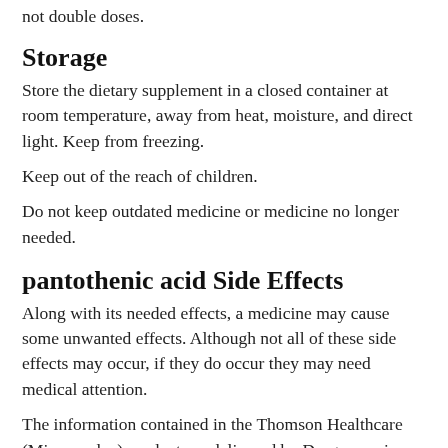not double doses.
Storage
Store the dietary supplement in a closed container at room temperature, away from heat, moisture, and direct light. Keep from freezing.
Keep out of the reach of children.
Do not keep outdated medicine or medicine no longer needed.
pantothenic acid Side Effects
Along with its needed effects, a medicine may cause some unwanted effects. Although not all of these side effects may occur, if they do occur they may need medical attention.
The information contained in the Thomson Healthcare (Micromedex) products as delivered by Drugs.com is intended as an educational aid only. It is not intended as